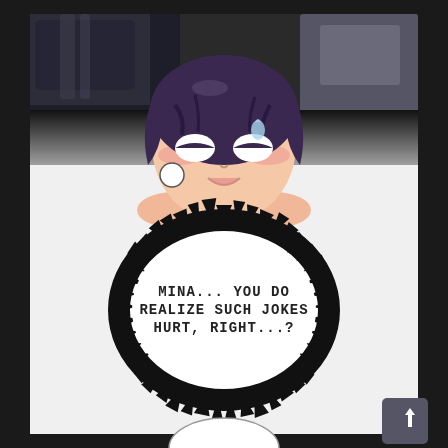[Figure (illustration): Manga/webtoon page showing an anime-style character with short dark purple hair, flushed embarrassed expression with half-closed white eyes and open mouth, sweating. The upper portion shows two other characters partially visible. A large spiky circular speech bubble in the lower half contains the text 'MINA... YOU DO REALIZE SUCH JOKES HURT, RIGHT...?' in a distressed font. At the very bottom is another partial speech bubble. A scroll-to-top button appears in the bottom right corner.]
MINA... YOU DO REALIZE SUCH JOKES HURT, RIGHT...?